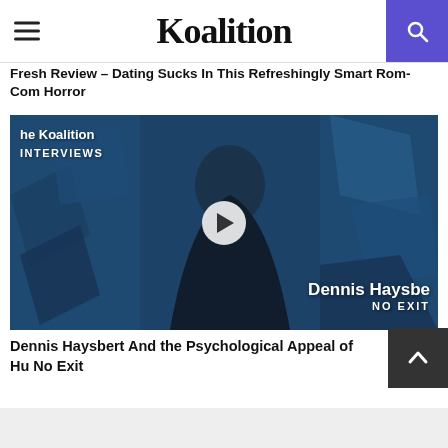Koalition
Fresh Review – Dating Sucks In This Refreshingly Smart Rom-Com Horror
[Figure (photo): Video thumbnail showing a man in a dark suit against a blue geometric background with 'the Koalition INTERVIEWS' watermark, a play button in the center, and 'Dennis Haysbe NO EXIT' text overlay in the lower right.]
Dennis Haysbert And the Psychological Appeal of Hu No Exit